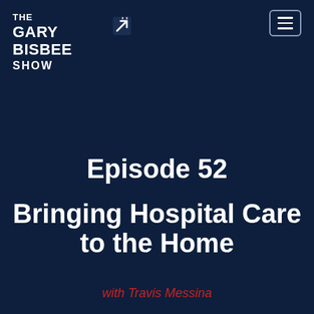[Figure (logo): The Gary Bisbee Show logo in white bold text on dark navy background, with an arrow icon in top right of the logo]
[Figure (other): Hamburger menu button (three horizontal lines) in a rounded rectangle border, top right corner]
Episode 52
Bringing Hospital Care to the Home
with Travis Messina